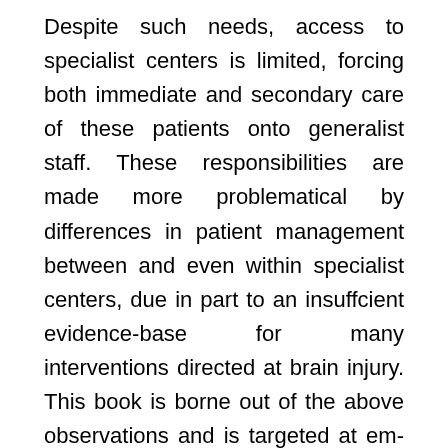Despite such needs, access to specialist centers is limited, forcing both immediate and secondary care of these patients onto generalist staff. These responsibilities are made more problematical by differences in patient management between and even within specialist centers, due in part to an insuffcient evidence-base for many interventions directed at brain injury. This book is borne out of the above observations and is targeted at em- gency and acute medicine, anesthetic and general intensive care staff caring for brain injury of diverse etiology, or surgical teams responsible for the inpatient care of minor to moderate head trauma. Although explaining the various facets of specialist care, the book is not intended to compete with texts directed at